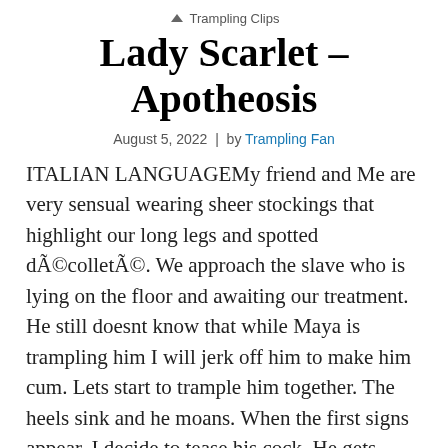Trampling Clips
Lady Scarlet – Apotheosis
August 5, 2022 | by Trampling Fan
ITALIAN LANGUAGEMy friend and Me are very sensual wearing sheer stockings that highlight our long legs and spotted décolleté. We approach the slave who is lying on the floor and awaiting our treatment. He still doesnt know that while Maya is trampling him I will jerk off him to make him cum. Lets start to trample him together. The heels sink and he moans. When the first signs appear, I decide to tease his cock. He gets excited, and then I stop. We still step on